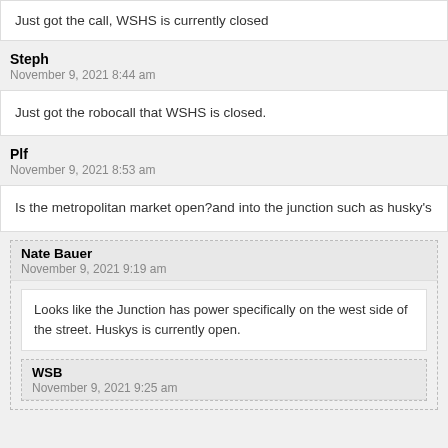Just got the call, WSHS is currently closed
Steph
November 9, 2021 8:44 am
Just got the robocall that WSHS is closed.
Plf
November 9, 2021 8:53 am
Is the metropolitan market open?and into the junction such as husky's
Nate Bauer
November 9, 2021 9:19 am
Looks like the Junction has power specifically on the west side of the street. Huskys is currently open.
WSB
November 9, 2021 9:25 am